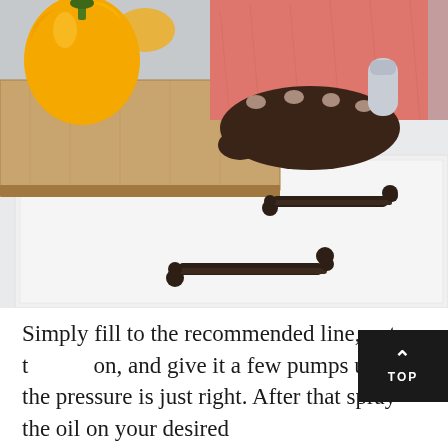[Figure (photo): Kitchen scene showing a person's hand wearing a pink athletic sleeve resting on a wooden cutting board with a yellow bell pepper on a white kitchen counter/drawer with a dark bronze bar pull handle]
Simply fill to the recommended line, put t on, and give it a few pumps until the pressure is just right. After that spray the oil on your desired